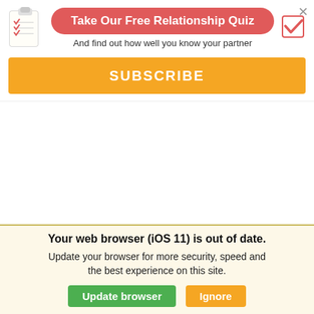[Figure (infographic): Checklist clipboard icon]
Take Our Free Relationship Quiz
And find out how well you know your partner
[Figure (infographic): Checkbox with checkmark icon]
×
SUBSCRIBE
[Figure (photo): Circular profile photo of a man with brown hair]
Your web browser (iOS 11) is out of date. Update your browser for more security, speed and the best experience on this site.
Update browser
Ignore